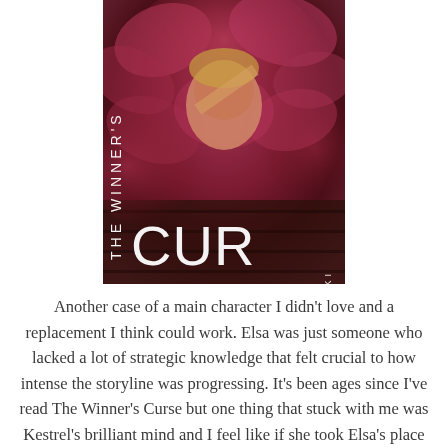[Figure (photo): Book cover of 'The Winner's Curse' by Marie Rutkoski. Dark reddish-pink floral background with a woman figure. Title text arranged vertically on left side reading 'THE WINNER'S' and large 'CUB' letters at bottom center. Author name 'MARIE RUTK' arranged vertically on right side.]
Another case of a main character I didn't love and a replacement I think could work. Elsa was just someone who lacked a lot of strategic knowledge that felt crucial to how intense the storyline was progressing. It's been ages since I've read The Winner's Curse but one thing that stuck with me was Kestrel's brilliant mind and I feel like if she took Elsa's place it'd make the story a lot more engaging.